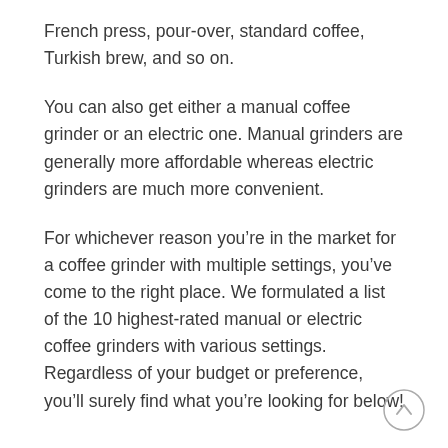French press, pour-over, standard coffee, Turkish brew, and so on.
You can also get either a manual coffee grinder or an electric one. Manual grinders are generally more affordable whereas electric grinders are much more convenient.
For whichever reason you’re in the market for a coffee grinder with multiple settings, you’ve come to the right place. We formulated a list of the 10 highest-rated manual or electric coffee grinders with various settings. Regardless of your budget or preference, you’ll surely find what you’re looking for below!